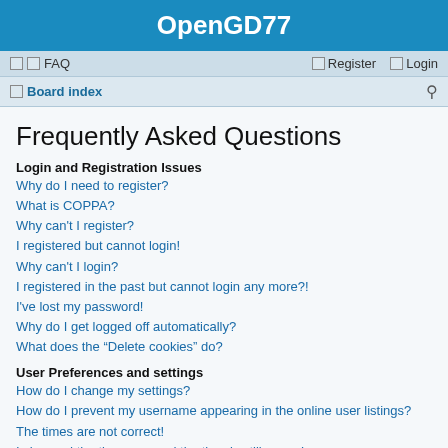OpenGD77
FAQ  Register  Login
Board index
Frequently Asked Questions
Login and Registration Issues
Why do I need to register?
What is COPPA?
Why can't I register?
I registered but cannot login!
Why can't I login?
I registered in the past but cannot login any more?!
I've lost my password!
Why do I get logged off automatically?
What does the "Delete cookies" do?
User Preferences and settings
How do I change my settings?
How do I prevent my username appearing in the online user listings?
The times are not correct!
I changed the timezone and the time is still wrong!
My language is not in the list!
What are the images next to my username?